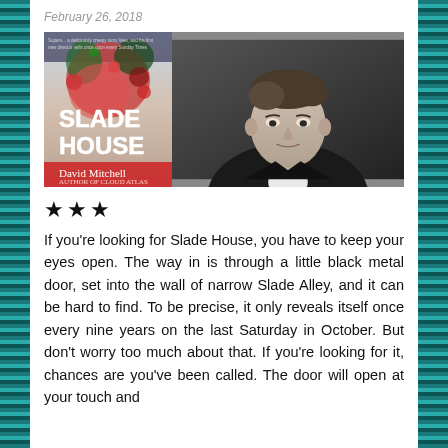February 26, 2018
[Figure (photo): Book cover of Slade House by David Mitchell (left) and a black-and-white author photo of David Mitchell (right)]
★★★
If you're looking for Slade House, you have to keep your eyes open. The way in is through a little black metal door, set into the wall of narrow Slade Alley, and it can be hard to find. To be precise, it only reveals itself once every nine years on the last Saturday in October. But don't worry too much about that. If you're looking for it, chances are you've been called. The door will open at your touch and